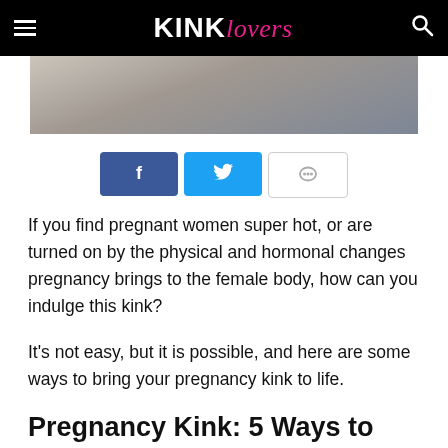KINK Lovers
[Figure (photo): Partial view of a pregnant woman's belly, hands resting on it]
[Figure (infographic): Social sharing buttons: Facebook, Twitter, Comment]
If you find pregnant women super hot, or are turned on by the physical and hormonal changes pregnancy brings to the female body, how can you indulge this kink?
It's not easy, but it is possible, and here are some ways to bring your pregnancy kink to life.
Pregnancy Kink: 5 Ways to Play
1. Enjoy your partner's pregnancy